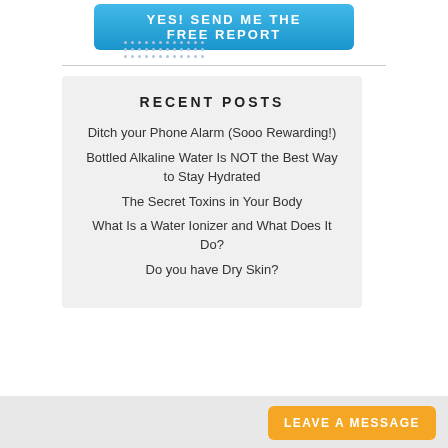[Figure (other): Blue button with text YES! SEND ME THE FREE REPORT]
[Figure (other): Dotted pattern decoration below the button]
RECENT POSTS
Ditch your Phone Alarm (Sooo Rewarding!)
Bottled Alkaline Water Is NOT the Best Way to Stay Hydrated
The Secret Toxins in Your Body
What Is a Water Ionizer and What Does It Do?
Do you have Dry Skin?
[Figure (other): Orange LEAVE A MESSAGE button in bottom right corner]